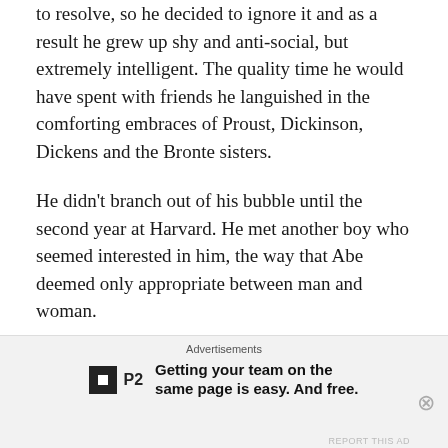to resolve, so he decided to ignore it and as a result he grew up shy and anti-social, but extremely intelligent. The quality time he would have spent with friends he languished in the comforting embraces of Proust, Dickinson, Dickens and the Bronte sisters.
He didn't branch out of his bubble until the second year at Harvard. He met another boy who seemed interested in him, the way that Abe deemed only appropriate between man and woman.
Charles Van Pugh was a beautiful boy. Six foot tall and the perfect Aryan. His hair was delicately cropped and framed his deep blue eyes and creamy skin.
Advertisements
[Figure (logo): P2 advertisement logo with tagline: Getting your team on the same page is easy. And free.]